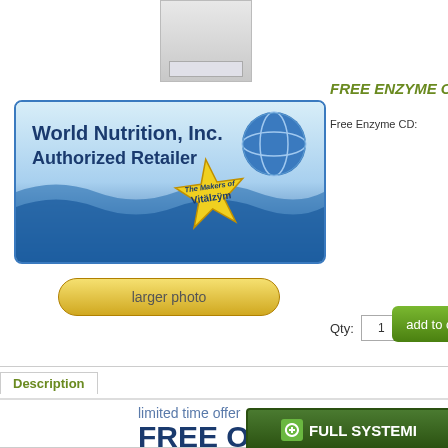[Figure (photo): Product bottle image at top]
[Figure (logo): World Nutrition, Inc. Authorized Retailer badge with globe logo and Vitalzym starburst]
larger photo
FREE ENZYME CD?
Free Enzyme CD:
Qty: 1
add to cart
Description
limited time offer
FREE OVERNITE S
ON VITALZYM 360 LIQUID GEL CAPSULE BOTTLES - US
Orders must be placed before 1:00pm EST weekdays for next
Orders will ship via US Express Mail. Transit may take up to 2 b cities, Alaska, and Hawaii. May not be combined with any o
[Figure (logo): FULL SYSTEMI green button logo at bottom right]